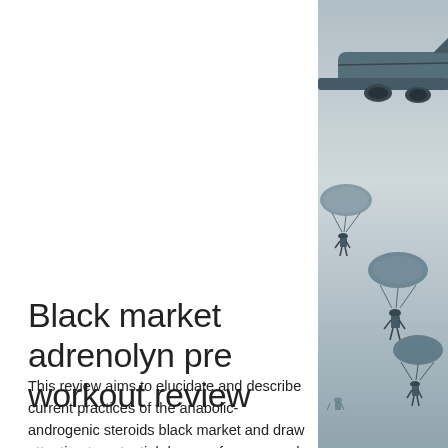Black market adrenolyn pre workout review
This review aims to elucidate and describe current practices of the anabolic-androgenic steroids black market and draw attention to potential dangers for usersand health practitioners of such steroids. The review will
[Figure (photo): Black and white photo of paratroopers jumping from a military aircraft, with parachutes deployed, against a grey sky. A large military transport plane is visible at the top right.]